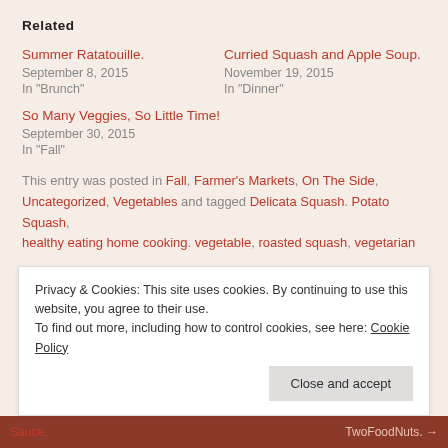Related
Summer Ratatouille.
September 8, 2015
In "Brunch"
Curried Squash and Apple Soup.
November 19, 2015
In "Dinner"
So Many Veggies, So Little Time!
September 30, 2015
In "Fall"
This entry was posted in Fall, Farmer's Markets, On The Side, Uncategorized, Vegetables and tagged Delicata Squash. Potato Squash, healthy eating home cooking. vegetable, roasted squash, vegetarian ...
Privacy & Cookies: This site uses cookies. By continuing to use this website, you agree to their use.
To find out more, including how to control cookies, see here: Cookie Policy
Close and accept
Sauce.
TwoFoodNuts. →